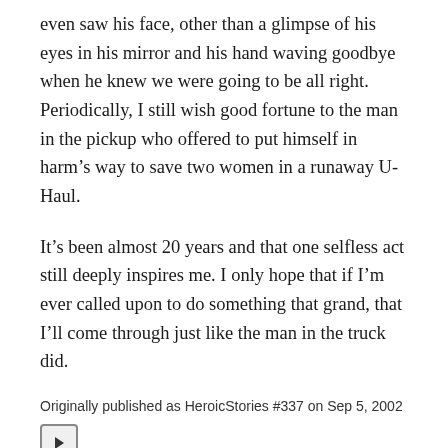even saw his face, other than a glimpse of his eyes in his mirror and his hand waving goodbye when he knew we were going to be all right. Periodically, I still wish good fortune to the man in the pickup who offered to put himself in harm’s way to save two women in a runaway U-Haul.
It’s been almost 20 years and that one selfless act still deeply inspires me. I only hope that if I’m ever called upon to do something that grand, that I’ll come through just like the man in the truck did.
Originally published as HeroicStories #337 on Sep 5, 2002
[Figure (other): A play button icon (right-pointing triangle inside a rounded rectangle border)]